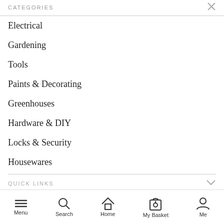CATEGORIES
Electrical
Gardening
Tools
Paints & Decorating
Greenhouses
Hardware & DIY
Locks & Security
Housewares
QUICK LINKS
LENEHANS
Menu  Search  Home  My Basket  Me